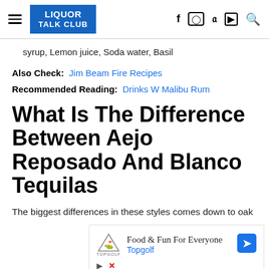LIQUOR TALK CLUB — navigation header with social icons
syrup, Lemon juice, Soda water, Basil
Also Check:  Jim Beam Fire Recipes
Recommended Reading:  Drinks W Malibu Rum
What Is The Difference Between Aejo Reposado And Blanco Tequilas
The biggest differences in these styles comes down to oak
[Figure (infographic): Topgolf advertisement: Food & Fun For Everyone, Topgolf brand, with logo and navigation arrow icon, play and close controls]